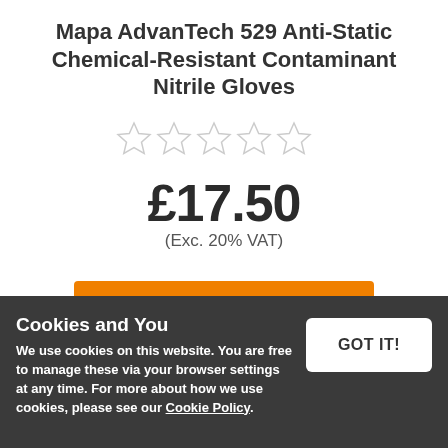Mapa AdvanTech 529 Anti-Static Chemical-Resistant Contaminant Nitrile Gloves
[Figure (other): Five empty star rating icons (no fill, grey outline)]
£17.50
(Exc. 20% VAT)
VIEW DETAILS »
Cookies and You
We use cookies on this website. You are free to manage these via your browser settings at any time. For more about how we use cookies, please see our Cookie Policy.